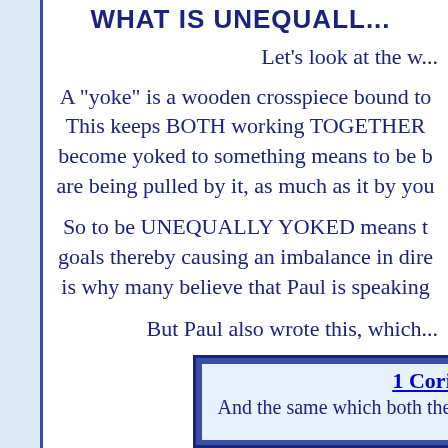WHAT IS UNEQUALL...
Let's look at the w...
A "yoke" is a wooden crosspiece bound to... This keeps BOTH working TOGETHER... become yoked to something means to be b... are being pulled by it, as much as it by you...
So to be UNEQUALLY YOKED means t... goals thereby causing an imbalance in dire... is why many believe that Paul is speaking...
But Paul also wrote this, which...
[Figure (other): Quoted scripture box with reference 1 Corinthians and verse text beginning 'And the same which both the...']